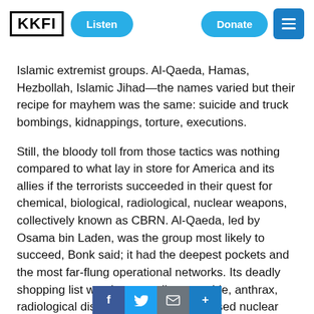KKFI | Listen | Donate
Islamic extremist groups. Al-Qaeda, Hamas, Hezbollah, Islamic Jihad—the names varied but their recipe for mayhem was the same: suicide and truck bombings, kidnappings, torture, executions.
Still, the bloody toll from those tactics was nothing compared to what lay in store for America and its allies if the terrorists succeeded in their quest for chemical, biological, radiological, nuclear weapons, collectively known as CBRN. Al-Qaeda, led by Osama bin Laden, was the group most likely to succeed, Bonk said; it had the deepest pockets and the most far-flung operational networks. Its deadly shopping list was long—sodium cyanide, anthrax, radiological disbursal devices, improvised nuclear arms. If al-Qaeda or another terrorist group got its hands on any one of